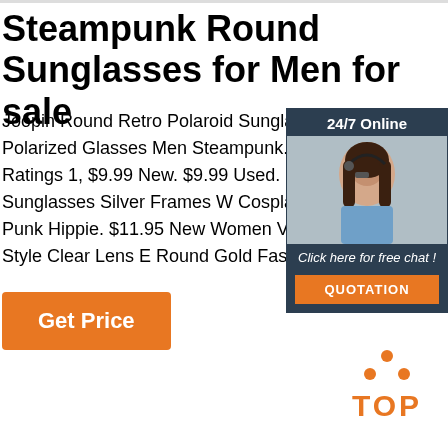Steampunk Round Sunglasses for Men for sale
Joopin Round Retro Polaroid Sunglasses Polarized Glasses Men Steampunk. 1 out Total Ratings 1, $9.99 New. $9.99 Used. Mirror Round Sunglasses Silver Frames W Cosplay Steam Punk Hippie. $11.95 New Women Vintage Retro Style Clear Lens E Round Gold Fashion Frame.
[Figure (other): Chat widget with 24/7 Online label, photo of woman with headset, 'Click here for free chat!' text, and orange QUOTATION button]
Get Price
[Figure (logo): Orange TOP logo with dots arranged in triangle above the word TOP]